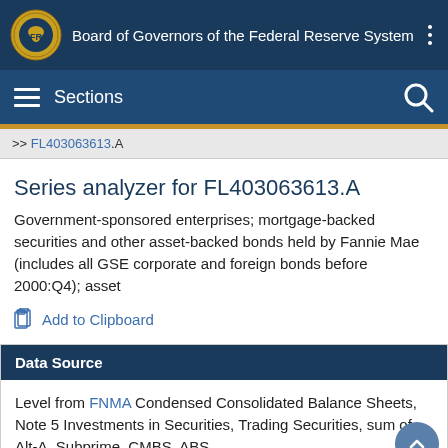Board of Governors of the Federal Reserve System
>> FL403063613.A
Series analyzer for FL403063613.A
Government-sponsored enterprises; mortgage-backed securities and other asset-backed bonds held by Fannie Mae (includes all GSE corporate and foreign bonds before 2000:Q4); asset
Add to Clipboard
Data Source
Level from FNMA Condensed Consolidated Balance Sheets, Note 5 Investments in Securities, Trading Securities, sum of Alt-A, Subprime, CMBS, ABS,